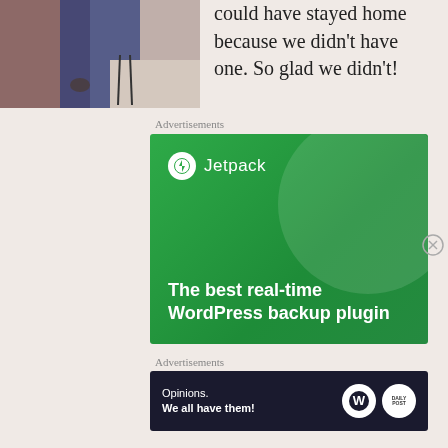[Figure (photo): Partial photo of people at a table, cropped at top-left]
could have stayed home because we didn't have one. So glad we didn't!
Advertisements
[Figure (other): Jetpack advertisement banner: The best real-time WordPress backup plugin]
Advertisements
[Figure (other): WordPress advertisement: Opinions. We all have them!]